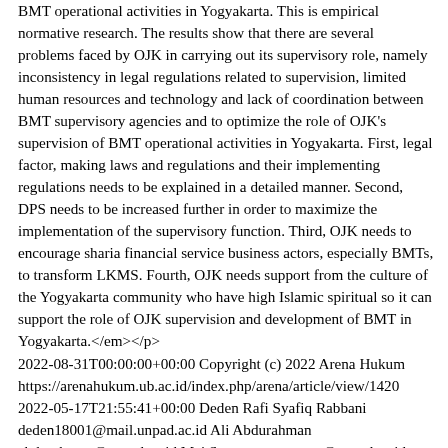BMT operational activities in Yogyakarta. This is empirical normative research. The results show that there are several problems faced by OJK in carrying out its supervisory role, namely inconsistency in legal regulations related to supervision, limited human resources and technology and lack of coordination between BMT supervisory agencies and to optimize the role of OJK's supervision of BMT operational activities in Yogyakarta. First, legal factor, making laws and regulations and their implementing regulations needs to be explained in a detailed manner. Second, DPS needs to be increased further in order to maximize the implementation of the supervisory function. Third, OJK needs to encourage sharia financial service business actors, especially BMTs, to transform LKMS. Fourth, OJK needs support from the culture of the Yogyakarta community who have high Islamic spiritual so it can support the role of OJK supervision and development of BMT in Yogyakarta.</em></p>
2022-08-31T00:00:00+00:00 Copyright (c) 2022 Arena Hukum https://arenahukum.ub.ac.id/index.php/arena/article/view/1420 2022-05-17T21:55:41+00:00 Deden Rafi Syafiq Rabbani deden18001@mail.unpad.ac.id Ali Abdurahman abdurahman@unpad.ac.id Mei Susanto m.susanto@unpad.ac.id <p><em>This paper aims to provide an analysis of two important things: First, the conception and use of the preamble to the constitution can be a constitutional touchstone. Second, the use of the preamble to the 1945 Constitution of the Republic of Indonesia